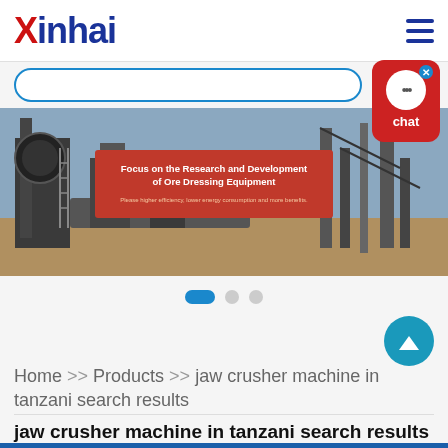Xinhai
[Figure (photo): Industrial ore dressing equipment / mining plant on open ground with red overlay banner reading: Focus on the Research and Development of Ore Dressing Equipment. Please higher efficiency, lower energy consumption and more benefits.]
Home >> Products >> jaw crusher machine in tanzani search results
jaw crusher machine in tanzani search results